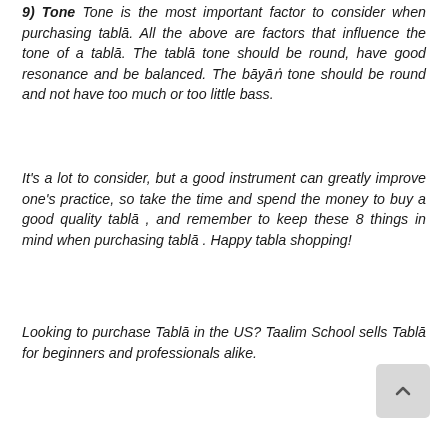9) Tone Tone is the most important factor to consider when purchasing tablā. All the above are factors that influence the tone of a tablā. The tablā tone should be round, have good resonance and be balanced. The bāyāṅ tone should be round and not have too much or too little bass.
It's a lot to consider, but a good instrument can greatly improve one's practice, so take the time and spend the money to buy a good quality tablā , and remember to keep these 8 things in mind when purchasing tablā . Happy tabla shopping!
Looking to purchase Tablā in the US? Taalim School sells Tablā for beginners and professionals alike.